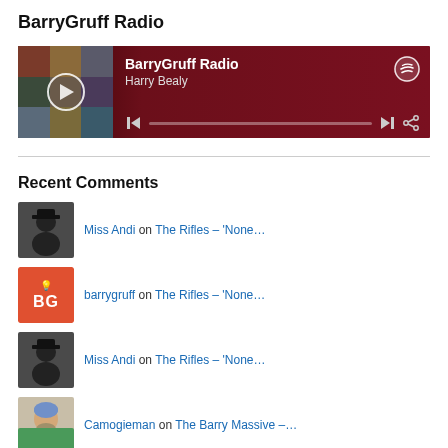BarryGruff Radio
[Figure (screenshot): Spotify embedded music player widget for 'BarryGruff Radio' by Harry Bealy, dark red background with album art thumbnails, play button, progress bar, and Spotify logo]
Recent Comments
Miss Andi on The Rifles – 'None…
barrygruff on The Rifles – 'None…
Miss Andi on The Rifles – 'None…
Camogieman on The Barry Massive –…